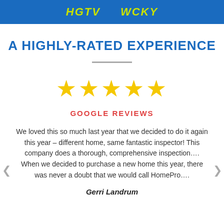HGTV WCKY
A HIGHLY-RATED EXPERIENCE
[Figure (illustration): Five gold star rating icons in a row]
GOOGLE REVIEWS
We loved this so much last year that we decided to do it again this year – different home, same fantastic inspector! This company does a thorough, comprehensive inspection…. When we decided to purchase a new home this year, there was never a doubt that we would call HomePro….
Gerri Landrum